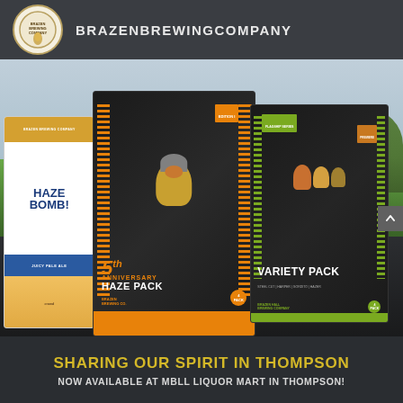BRAZENBREWINGCOMPANY
[Figure (photo): Outdoor park scene with colorful animal sculptures on a stone platform, green grass and trees in background. In the foreground: a Haze Bomb Juicy Pale Ale can, a 5th Anniversary Haze Pack box (Brazen Brewing Co., 4-pack), and a Flagship Series Variety Pack box (Brazen Hall Brewing Company, 4-pack).]
SHARING OUR SPIRIT IN THOMPSON
NOW AVAILABLE AT MBLL LIQUOR MART IN THOMPSON!